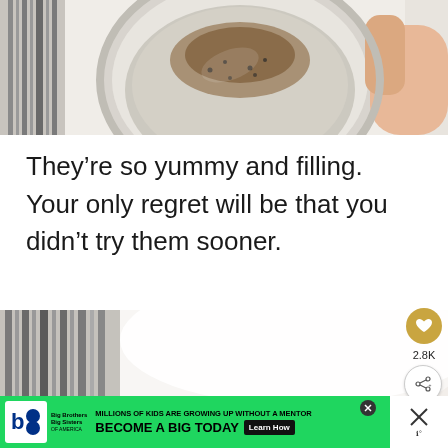[Figure (photo): Overhead view of a glass jar containing overnight oats or chia pudding with cinnamon/spice sprinkled on top, with a striped cloth napkin and a hand visible at the right edge.]
They’re so yummy and filling. Your only regret will be that you didn’t try them sooner.
[Figure (photo): Close-up partial view of a white plate or bowl on a striped cloth napkin, partially obscured by an advertisement banner at the bottom. A golden heart/save button and share button with count 2.8K visible on the right side.]
MILLIONS OF KIDS ARE GROWING UP WITHOUT A MENTOR. BECOME A BIG TODAY